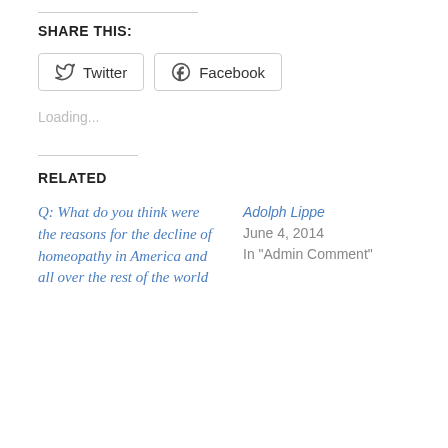SHARE THIS:
Twitter  Facebook
Loading...
RELATED
Q: What do you think were the reasons for the decline of homeopathy in America and all over the rest of the world
Adolph Lippe
June 4, 2014
In "Admin Comment"